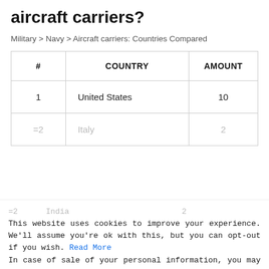aircraft carriers?
Military > Navy > Aircraft carriers: Countries Compared
| # | COUNTRY | AMOUNT |
| --- | --- | --- |
| 1 | United States | 10 |
| =2 | Italy | 2 |
| =2 | India | 2 |
This website uses cookies to improve your experience. We'll assume you're ok with this, but you can opt-out if you wish. Read More In case of sale of your personal information, you may opt out by using the link Do Not Sell My Personal Information